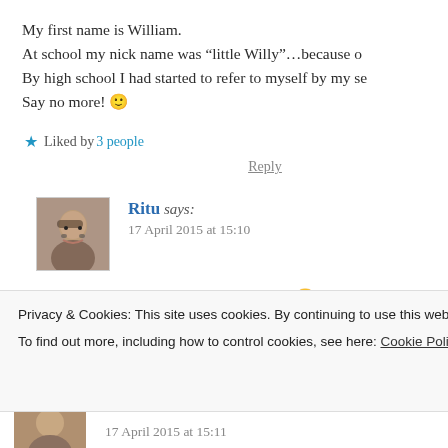My first name is William.
At school my nick name was “little Willy”…because o
By high school I had started to refer to myself by my se
Say no more! 🙂
Liked by 3 people
Reply
[Figure (photo): Avatar photo of Ritu]
Ritu says:
17 April 2015 at 15:10
Ha ha!! Like it Willy!! 😜
Liked by 1 person
Privacy & Cookies: This site uses cookies. By continuing to use this website, you agree to their use.
To find out more, including how to control cookies, see here: Cookie Policy
Close and accept
17 April 2015 at 15:11